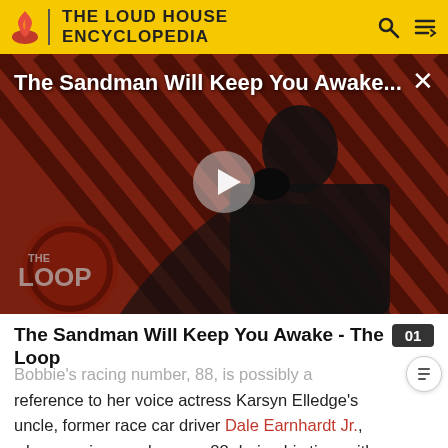THE LOUD HOUSE ENCYCLOPEDIA
[Figure (screenshot): Video thumbnail for 'The Sandman Will Keep You Awake...' showing a dark figure in a black cape with 'THE LOOP' logo overlay, on a red and black striped background. A play button is visible in the center.]
The Sandman Will Keep You Awake - The Loop
Bobbie's racing number, 88, is possibly a reference to her voice actress Karsyn Elledge's uncle, former race car driver Dale Earnhardt Jr., whose racing number was 88 during his time with